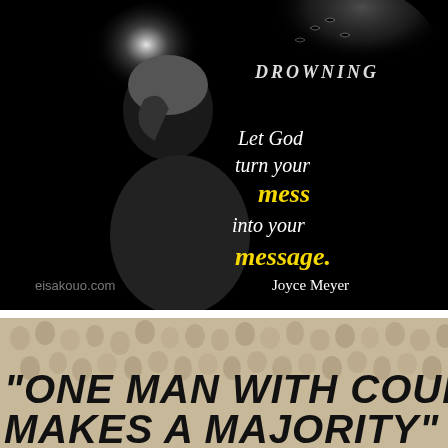[Figure (illustration): Black and white dramatic photo of a person holding their head with the word 'DROWNING' above them and particles/birds dispersing from the head. Yellow and white script text reads: 'Let God turn your mess into your message. Joyce Meyer'. Website eisakouo.com visible at bottom left.]
[Figure (illustration): Image of crowd of people/sheep in background with bold black text overlay reading: "ONE MAN WITH COURAGE MAKES A MAJORITY"]